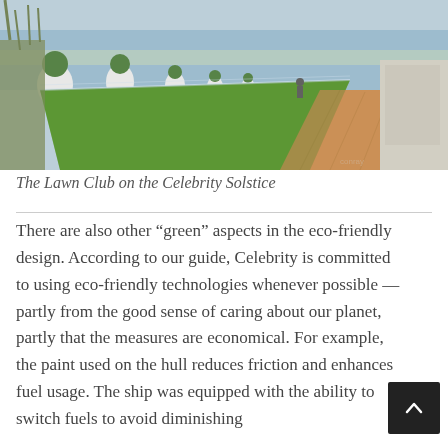[Figure (photo): Outdoor photo of the Lawn Club on the Celebrity Solstice cruise ship, showing a strip of green lawn flanked by a wooden deck walkway, white planters with round topiary trees, glass railings, and a body of water visible in the background.]
The Lawn Club on the Celebrity Solstice
There are also other “green” aspects in the eco-friendly design. According to our guide, Celebrity is committed to using eco-friendly technologies whenever possible — partly from the good sense of caring about our planet, partly that the measures are economical. For example,  the paint used on the hull reduces friction and enhances fuel usage. The ship was equipped with the ability to switch fuels to avoid diminishing